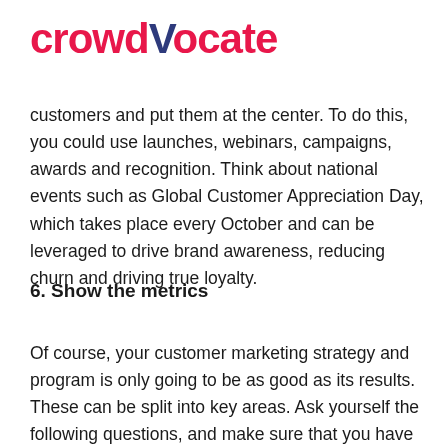[Figure (logo): Crowdvocate logo — 'crowd' in red, 'V' in dark navy/purple, 'ocate' in red]
customers and put them at the center. To do this, you could use launches, webinars, campaigns, awards and recognition. Think about national events such as Global Customer Appreciation Day, which takes place every October and can be leveraged to drive brand awareness, reducing churn and driving true loyalty.
6. Show the metrics
Of course, your customer marketing strategy and program is only going to be as good as its results. These can be split into key areas. Ask yourself the following questions, and make sure that you have a system set up to provide the answers.